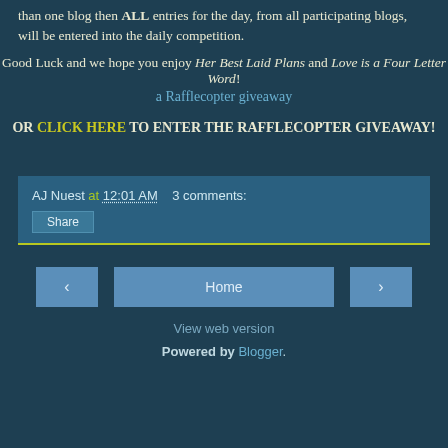than one blog then ALL entries for the day, from all participating blogs, will be entered into the daily competition.
Good Luck and we hope you enjoy Her Best Laid Plans and Love is a Four Letter Word!
a Rafflecopter giveaway
OR CLICK HERE TO ENTER THE RAFFLECOPTER GIVEAWAY!
AJ Nuest at 12:01 AM   3 comments:
Share
Home
View web version
Powered by Blogger.